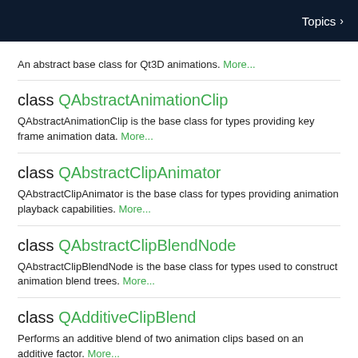Topics >
An abstract base class for Qt3D animations. More...
class QAbstractAnimationClip
QAbstractAnimationClip is the base class for types providing key frame animation data. More...
class QAbstractClipAnimator
QAbstractClipAnimator is the base class for types providing animation playback capabilities. More...
class QAbstractClipBlendNode
QAbstractClipBlendNode is the base class for types used to construct animation blend trees. More...
class QAdditiveClipBlend
Performs an additive blend of two animation clips based on an additive factor. More...